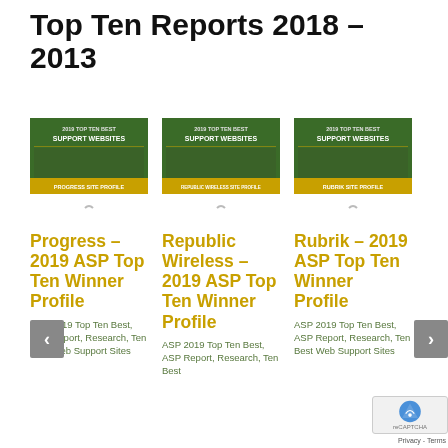Top Ten Reports 2018 – 2013
[Figure (illustration): Card image for Progress site profile – 2019 ASP Top Ten Best Support Websites report cover with green header and gold banner]
Progress – 2019 ASP Top Ten Winner Profile
ASP 2019 Top Ten Best, ASP Report, Research, Ten Best Web Support Sites
[Figure (illustration): Card image for Republic Wireless site profile – 2019 ASP Top Ten Best Support Websites report cover with green header and gold banner]
Republic Wireless – 2019 ASP Top Ten Winner Profile
ASP 2019 Top Ten Best, ASP Report, Research, Ten Best
[Figure (illustration): Card image for Rubrik site profile – 2019 ASP Top Ten Best Support Websites report cover with green header and gold banner]
Rubrik – 2019 ASP Top Ten Winner Profile
ASP 2019 Top Ten Best, ASP Report, Research, Ten Best Web Support Sites